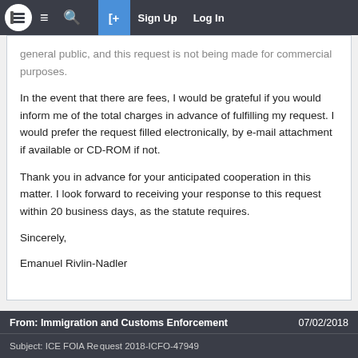Navigation bar with logo, menu, search, share, Sign Up, Log In
general public, and this request is not being made for commercial purposes.
In the event that there are fees, I would be grateful if you would inform me of the total charges in advance of fulfilling my request. I would prefer the request filled electronically, by e-mail attachment if available or CD-ROM if not.
Thank you in advance for your anticipated cooperation in this matter. I look forward to receiving your response to this request within 20 business days, as the statute requires.
Sincerely,
Emanuel Rivlin-Nadler
From: Immigration and Customs Enforcement   07/02/2018
Subject: ICE FOIA Request 2018-ICFO-47949